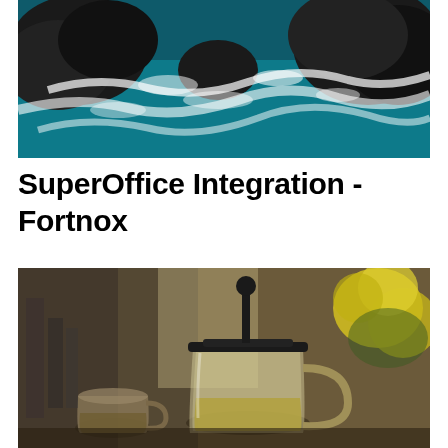[Figure (photo): Aerial view of rocky coastline with dark rocks and crashing turquoise/teal ocean waves with white foam]
SuperOffice Integration - Fortnox
[Figure (photo): Close-up photo of a glass French press tea pot with yellow-green tea inside, a small ceramic cup on the left, yellow roses in the background, and kitchen equipment in the blurred background]